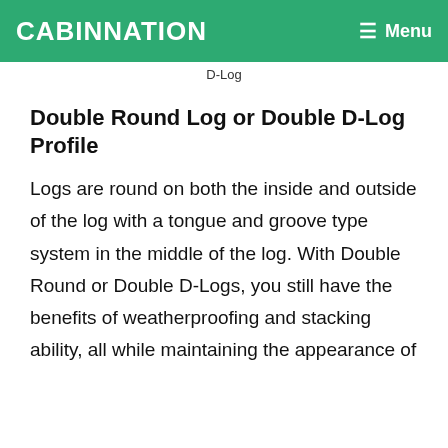CABINNATION   ≡ Menu
D-Log
Double Round Log or Double D-Log Profile
Logs are round on both the inside and outside of the log with a tongue and groove type system in the middle of the log. With Double Round or Double D-Logs, you still have the benefits of weatherproofing and stacking ability, all while maintaining the appearance of